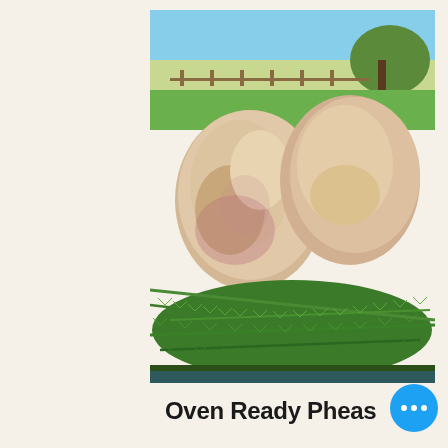[Figure (photo): Two oven-ready pheasants resting on a bed of fresh rosemary sprigs, photographed outdoors with a rural field and fence visible in the background]
Oven Ready Pheas...